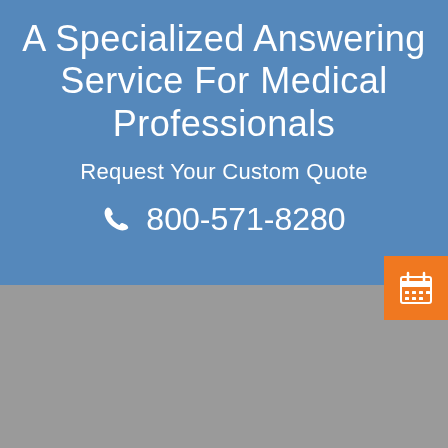A Specialized Answering Service For Medical Professionals
Request Your Custom Quote
800-571-8280
[Figure (logo): Calendar icon in orange button]
[Figure (logo): thedoctorsanswer logo with cross and wifi signal arcs]
Phone: 800-571-8280
Email: service@thedoctorsanswer.com